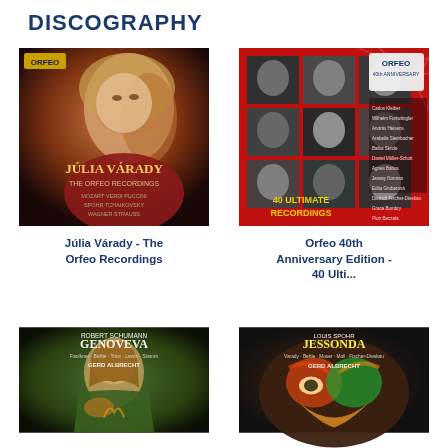DISCOGRAPHY
[Figure (photo): Album cover: Júlia Várady - The Orfeo Recordings. Photo of a blonde woman against dark background with gold text. Orfeo label.]
Júlia Várady - The Orfeo Recordings
[Figure (photo): Album cover: Orfeo 40th Anniversary Edition - 40 Ultimate Recordings. Red cover with grid of black and white portraits and list of artist names.]
Orfeo 40th Anniversary Edition - 40 Ulti...
[Figure (photo): Album cover: Robert Schumann Genoveva. Faulkner, Behle, Titus, Lewis, Stamm. Gerd Albrecht. Pre-Raphaelite style painting of a woman.]
[Figure (photo): Album cover: Louis Spohr Jessonda. Varady, Behle, Moser, Moll, Fischer-Dieskau. Gerd Albrecht. Close-up of a colorful painted face mask.]